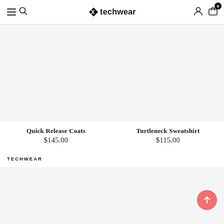Xtechwear — navigation header with menu, search, account, cart (0 items)
[Figure (photo): Product image placeholder for Quick Release Coats]
Quick Release Coats
$145.00
[Figure (photo): Product image placeholder for Turtleneck Sweatshirt]
Turtleneck Sweatshirt
$115.00
TECHWEAR
[Figure (photo): Lower product image placeholder left]
[Figure (photo): Lower product image placeholder right]